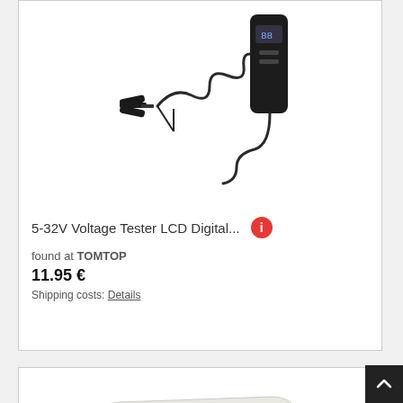[Figure (photo): 5-32V Voltage Tester LCD Digital device with coiled cable and alligator clip]
5-32V Voltage Tester LCD Digital...
found at TOMTOP
11.95 €
Shipping costs: Details
[Figure (photo): White handheld probe or pen-like device with a dark stripe]